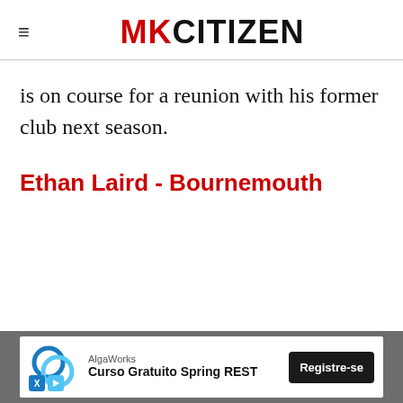MK CITIZEN
is on course for a reunion with his former club next season.
Ethan Laird - Bournemouth
[Figure (screenshot): Advertisement banner: AlgaWorks - Curso Gratuito Spring REST with a Registre-se button]